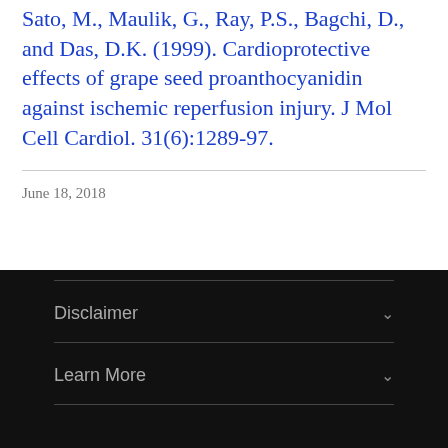Sato, M., Maulik, G., Ray, P.S., Bagchi, D., and Das, D.K. (1999). Cardioprotective effects of grape seed proanthocyanidin against ischemic reperfusion injury. J Mol Cell Cardiol. 31(6):1289-97.
June 18, 2018
Disclaimer | Learn More